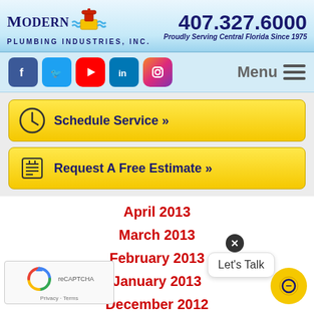[Figure (logo): Modern Plumbing Industries Inc. logo with pipe valve icon and phone number 407.327.6000, tagline Proudly Serving Central Florida Since 1975]
[Figure (infographic): Navigation bar with social media icons: Facebook, Twitter, YouTube, LinkedIn, Instagram, and Menu hamburger button]
Schedule Service »
Request A Free Estimate »
April 2013
March 2013
February 2013
January 2013
December 2012
November 2012
October 2012